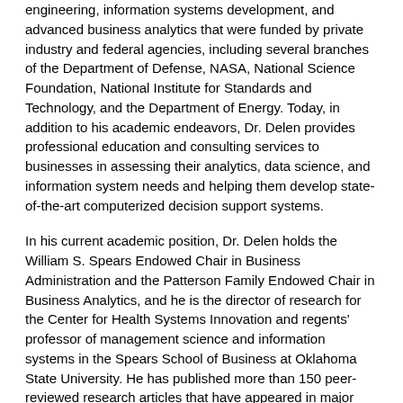engineering, information systems development, and advanced business analytics that were funded by private industry and federal agencies, including several branches of the Department of Defense, NASA, National Science Foundation, National Institute for Standards and Technology, and the Department of Energy. Today, in addition to his academic endeavors, Dr. Delen provides professional education and consulting services to businesses in assessing their analytics, data science, and information system needs and helping them develop state-of-the-art computerized decision support systems.
In his current academic position, Dr. Delen holds the William S. Spears Endowed Chair in Business Administration and the Patterson Family Endowed Chair in Business Analytics, and he is the director of research for the Center for Health Systems Innovation and regents' professor of management science and information systems in the Spears School of Business at Oklahoma State University. He has published more than 150 peer-reviewed research articles that have appeared in major journals, including Journal of Business Research, Journal of Business Analytics, Decision Sciences Journal, Decision Support Systems, Communications of the ACM, Computers & Operations Research, Annals of Operations Research, Computers in Industry, Journal of Production Operations Management, Artificial Intelligence in Medicine, Journal of the American Medical Informatics Association, Expert Systems with Applications, Renewable and Sustainable Energy Reviews, Energy, and Renewable